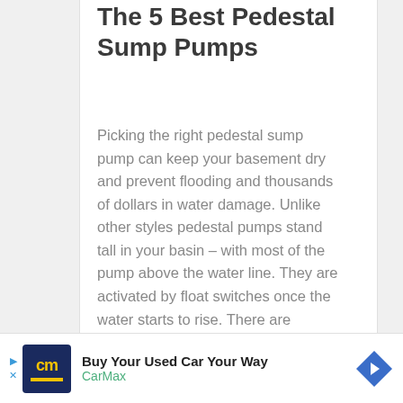The 5 Best Pedestal Sump Pumps
Picking the right pedestal sump pump can keep your basement dry and prevent flooding and thousands of dollars in water damage. Unlike other styles pedestal pumps stand tall in your basin – with most of the pump above the water line. They are activated by float switches once the water starts to rise. There are
READ MORE »
[Figure (infographic): Advertisement banner: CarMax 'Buy Your Used Car Your Way' ad with logo (cm), text, and blue arrow icon]